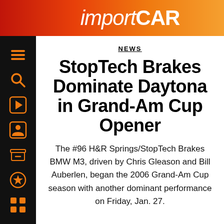importCAR
NEWS
StopTech Brakes Dominate Daytona in Grand-Am Cup Opener
The #96 H&R Springs/StopTech Brakes BMW M3, driven by Chris Gleason and Bill Auberlen, began the 2006 Grand-Am Cup season with another dominant performance on Friday, Jan. 27.